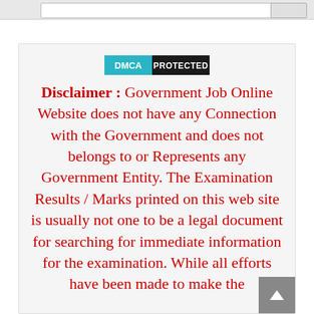[Figure (logo): DMCA Protected badge with teal DMCA label and black PROTECTED label]
Disclaimer : Government Job Online Website does not have any Connection with the Government and does not belongs to or Represents any Government Entity. The Examination Results / Marks printed on this web site is usually not one to be a legal document for searching for immediate information for the examination. While all efforts have been made to make the